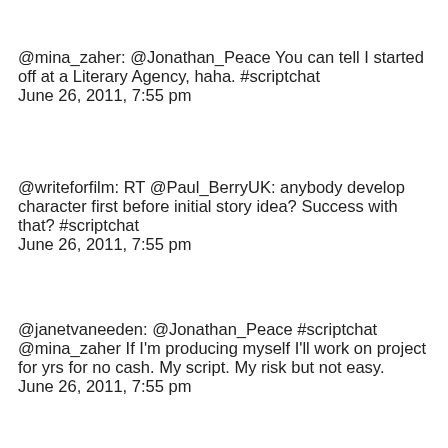@mina_zaher: @Jonathan_Peace You can tell I started off at a Literary Agency, haha. #scriptchat
June 26, 2011, 7:55 pm
@writeforfilm: RT @Paul_BerryUK: anybody develop character first before initial story idea? Success with that? #scriptchat
June 26, 2011, 7:55 pm
@janetvaneeden: @Jonathan_Peace #scriptchat @mina_zaher If I'm producing myself I'll work on project for yrs for no cash. My script. My risk but not easy.
June 26, 2011, 7:55 pm